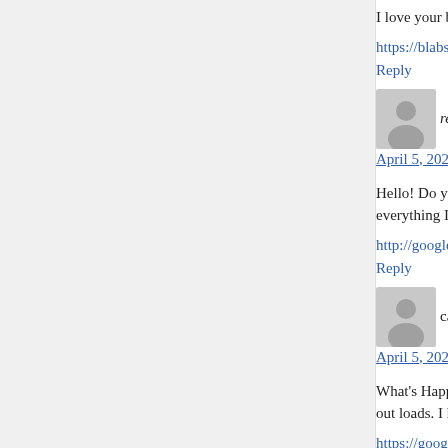I love your blog site. I'm handled. Thank anyone
https://blabshack.com/members/casino1dollarsh
Reply
[Figure (illustration): User avatar placeholder silhouette]
read more says:
April 5, 2021 at 1:16 pm
Hello! Do you know if they make any plugins to p everything I've worked hard on. Any suggestions
http://google.com.af/url?q=https://statepikemass
Reply
[Figure (illustration): User avatar placeholder silhouette]
cashfx says:
April 5, 2021 at 3:50 pm
What's Happening i'm new to this, I stumbled up out loads. I hope to contribute & aid other users
https://google.com.ph/url?q=https://youtu.be/_hc
Reply
[Figure (illustration): User avatar placeholder silhouette]
Yoga pants vs yoga leggings says: